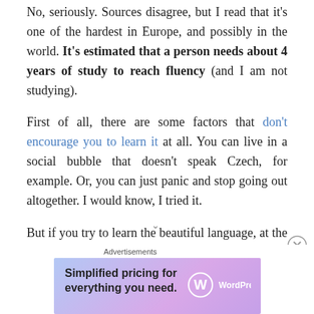No, seriously. Sources disagree, but I read that it's one of the hardest in Europe, and possibly in the world. It's estimated that a person needs about 4 years of study to reach fluency (and I am not studying).
First of all, there are some factors that don't encourage you to learn it at all. You can live in a social bubble that doesn't speak Czech, for example. Or, you can just panic and stop going out altogether. I would know, I tried it.
But if you try to learn the beautiful language, at the beginning you feel like everything is against you. Accents and digraphs make for a stunning 42 characters in the alphabet (nice, uh?). Some sounds are also very specific
[Figure (screenshot): WordPress.com advertisement banner: 'Simplified pricing for everything you need.' with WordPress logo on purple/blue gradient background]